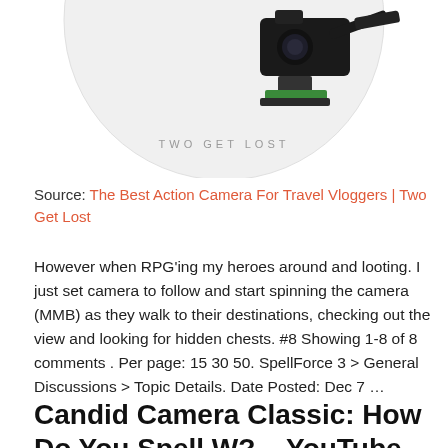[Figure (photo): Partial circular logo/image showing a GoPro-style action camera mounted on a clip, with text 'TWO GET LOST' at the bottom of the circle, on a white background. Only the bottom half of the circle is visible.]
Source: The Best Action Camera For Travel Vloggers | Two Get Lost
However when RPG'ing my heroes around and looting. I just set camera to follow and start spinning the camera (MMB) as they walk to their destinations, checking out the view and looking for hidden chests. #8 Showing 1-8 of 8 comments . Per page: 15 30 50. SpellForce 3 > General Discussions > Topic Details. Date Posted: Dec 7 …
View full content
Candid Camera Classic: How Do You Spell W? – YouTube